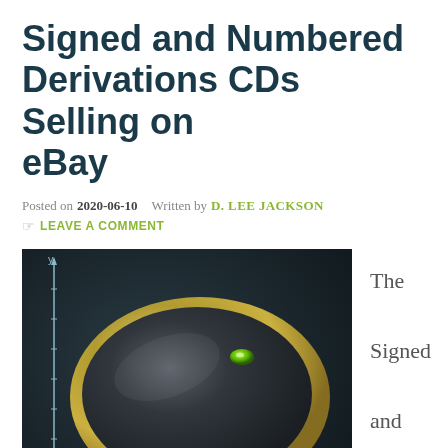Signed and Numbered Derivations CDs Selling on eBay
Posted on 2020-06-10   Written by D. LEE JACKSON
LEAVE A COMMENT
[Figure (photo): 3D rendered image of a dark metallic oval/CD disc with gold rim and a green indicator light, set against a dark background with coordinate axis lines (x and y axes with ruler markings).]
The Signed and